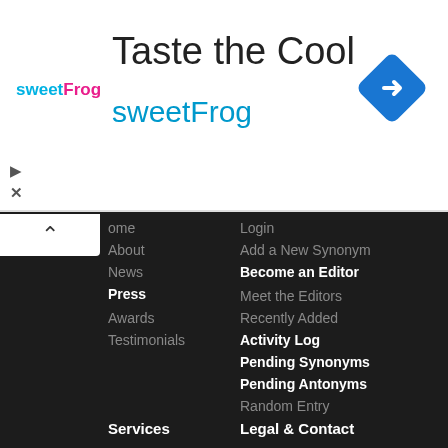[Figure (logo): sweetFrog logo - text with sweet in cyan and Frog in pink]
Taste the Cool
sweetFrog
[Figure (illustration): Blue diamond shaped navigation/directions icon with white arrow]
Home
About
News
Press
Awards
Testimonials
Login
Add a New Synonym
Become an Editor
Meet the Editors
Recently Added
Activity Log
Pending Synonyms
Pending Antonyms
Random Entry
Services
Legal & Contact
Tools
My Vocabulary
Tell a Friend
Bookmark Us
Word of the Day
Synonyms API
Terms of Use
Privacy Policy
Contact Us
Advertise